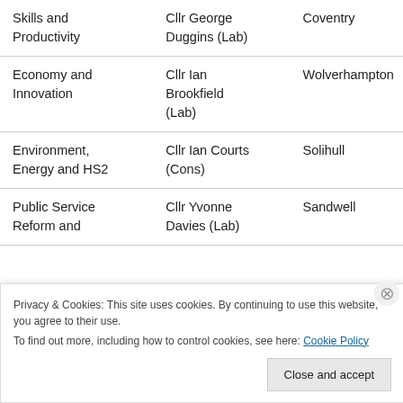| Portfolio | Councillor | Council |
| --- | --- | --- |
| Skills and Productivity | Cllr George Duggins (Lab) | Coventry |
| Economy and Innovation | Cllr Ian Brookfield (Lab) | Wolverhampton |
| Environment, Energy and HS2 | Cllr Ian Courts (Cons) | Solihull |
| Public Service Reform and | Cllr Yvonne Davies (Lab) | Sandwell |
Privacy & Cookies: This site uses cookies. By continuing to use this website, you agree to their use. To find out more, including how to control cookies, see here: Cookie Policy